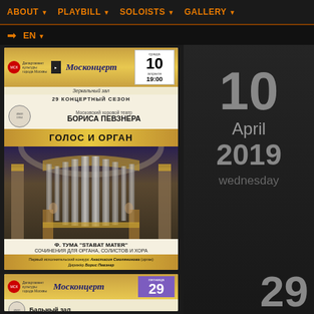ABOUT ▾   PLAYBILL ▾   SOLOISTS ▾   GALLERY ▾
➡ EN ▾
[Figure (photo): Concert poster for Moskoncert: Московский хоровой театр БОРИСА ПЕВЗНЕРА, ГОЛОС И ОРГАН, 10 апреля 19:00, Ф. ТУМА STABAT MATER, СОЧИНЕНИЯ ДЛЯ ОРГАНА, СОЛИСТОВ И ХОРА. Features image of ornate pipe organ in a baroque church.]
10 April 2019 wednesday
[Figure (photo): Partial concert poster (second event) showing Moskoncert header with Бальный зал hall and purple date badge showing пятница 29.]